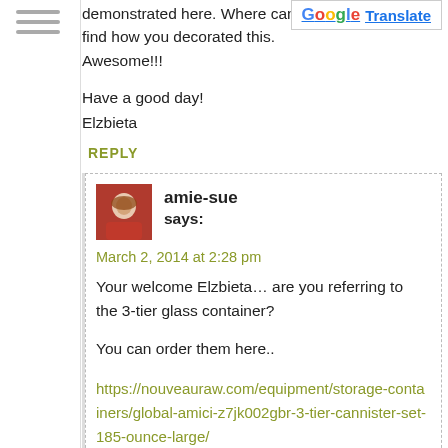[Figure (other): Hamburger menu icon with three horizontal lines]
demonstrated here. Where can I find how you decorated this. Awesome!!!
[Figure (other): Google Translate button with G logo]
Have a good day!
Elzbieta
REPLY
[Figure (photo): Avatar photo of amie-sue, a woman with short hair wearing red]
amie-sue
says:
March 2, 2014 at 2:28 pm
Your welcome Elzbieta… are you referring to the 3-tier glass container?
You can order them here..
https://nouveauraw.com/equipment/storage-containers/global-amici-z7jk002gbr-3-tier-cannister-set-185-ounce-large/